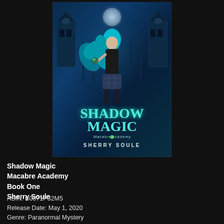[Figure (illustration): Book cover for 'Shadow Magic: Macabre Academy Book One' by Sherry Soule. Shows a young woman with long blue hair in a dark fantasy setting with castle gates, gargoyles, and a moon in the background. Title text 'SHADOW MAGIC' appears in large teal glowing letters, with 'Macabre Academy' and 'SHERRY SOULE' below.]
Shadow Magic
Macabre Academy
Book One
Sherry Soule
ASIN: B0871P32M5
Release Date: May 1, 2020
Genre: Paranormal Mystery
Subgenre: Paranormal Romance, Love Triangle, Academy